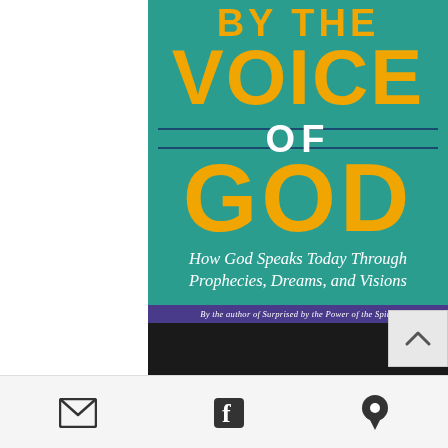[Figure (illustration): Book cover for 'By the Voice of God: How God Speaks Today Through Prophecies, Dreams, and Visions'. Teal/green background with large gold uppercase letters for VOICE OF GOD, white text for OF and the subtitle in italic. A purple banner at the bottom reads 'By the author of Surprised by the Power of the Spirit'. Below the cover is a dark black strip, and at the very bottom a navigation bar with email, Facebook, and location icons.]